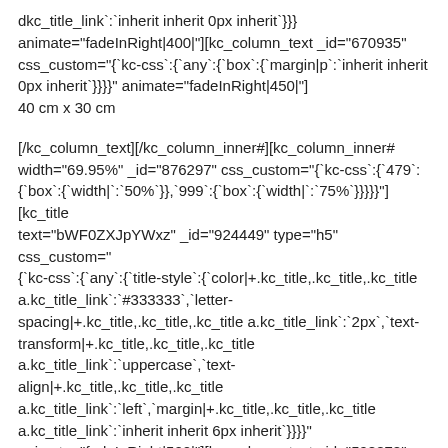dkc_title_link`:`inherit inherit 0px inherit`}}}
animate="fadeInRight|400|"][kc_column_text _id="670935" css_custom="{`kc-css`:{`any`:{`box`:{`margin|p`:`inherit inherit 0px inherit`}}}}" animate="fadeInRight|450|"]
40 cm x 30 cm
[/kc_column_text][/kc_column_inner#][kc_column_inner# width="69.95%" _id="876297" css_custom="{`kc-css`:{`479`:{`box`:{`width|`:`50%`}},`999`:{`box`:{`width|`:`75%`}}}}"]
[kc_title text="bWF0ZXJpYWxz" _id="924449" type="h5" css_custom="{`kc-css`:{`any`:{`title-style`:{`color|+.kc_title,.kc_title,.kc_title a.kc_title_link`:`#333333`,`letter-spacing|+.kc_title,.kc_title,.kc_title a.kc_title_link`:`2px`,`text-transform|+.kc_title,.kc_title,.kc_title a.kc_title_link`:`uppercase`,`text-align|+.kc_title,.kc_title,.kc_title a.kc_title_link`:`left`,`margin|+.kc_title,.kc_title,.kc_title a.kc_title_link`:`inherit inherit 6px inherit`}}}}" animate="fadeInRight|500|"][kc_column_text _id="598878" css_custom="{`kc-css`:{`any`:{`box`:{`margin|p`:`inherit inherit 0px inherit`}}}}" animate="fadeInRight|550|"]